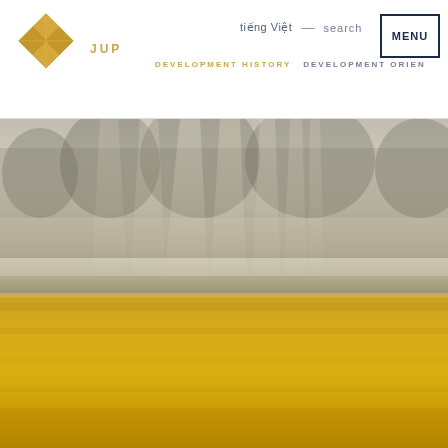JUP | tiếng Việt — search | DEVELOPMENT HISTORY | DEVELOPMENT ORIENT | MENU
[Figure (photo): Hero image of a golden wheat field with misty/foggy sky and light rays streaming down through trees in the background. The lower half shows bright golden-yellow grain crop, and the upper portion is a hazy, muted grey-beige sky with vertical light shafts.]